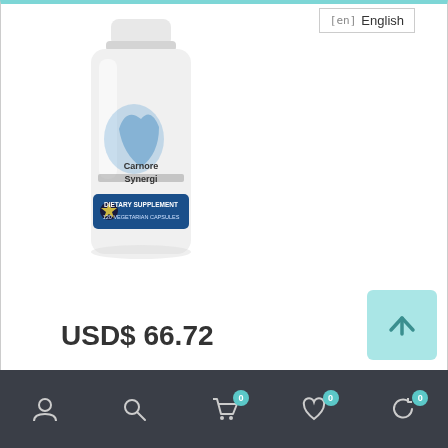en English
[Figure (photo): White supplement bottle labeled 'Carnore Synergi - Dietary Supplement - 120 Vegetarian Capsules' with a blue band and a stylized leaf/heart logo]
USD$ 66.72
[Figure (other): Bottom navigation bar with icons: user/account, search, cart (badge 0), wishlist (badge 0), recently viewed (badge 0)]